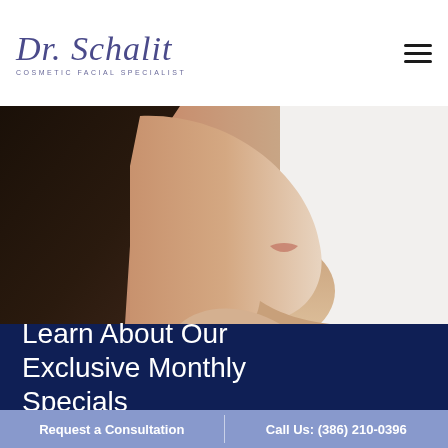Dr. Schalit — COSMETIC FACIAL SPECIALIST
[Figure (photo): Side profile close-up of a woman's face and neck against a light background, showing jawline and lips with a slight smile]
Learn About Our Exclusive Monthly Specials
Request a Consultation  |  Call Us: (386) 210-0396